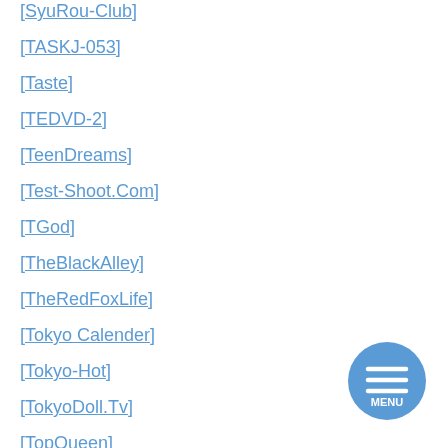[SyuRou-Club]
[TASKJ-053]
[Taste]
[TEDVD-2]
[TeenDreams]
[Test-Shoot.Com]
[TGod]
[TheBlackAlley]
[TheRedFoxLife]
[Tokyo Calender]
[Tokyo-Hot]
[TokyoDoll.Tv]
[TopQueen]
[Figure (other): Circular blue menu button with three horizontal white lines and MENU text label]